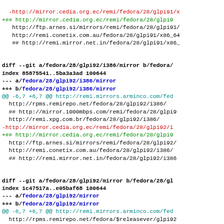diff --git code block for fedora/28/glpi92/i386/mirror
diff --git code block for fedora/28/glpi92/mirror